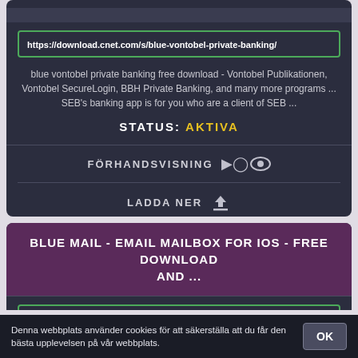https://download.cnet.com/s/blue-vontobel-private-banking/
blue vontobel private banking free download - Vontobel Publikationen, Vontobel SecureLogin, BBH Private Banking, and many more programs ... SEB's banking app is for you who are a client of SEB ...
STATUS: AKTIVA
FÖRHANDSVISNING
LADDA NER
BLUE MAIL - EMAIL MAILBOX FOR IOS - FREE DOWNLOAD AND ...
https://download.cnet.com/Blue-Mail-Email-Mailbox/3000-2064_4-7717
Denna webbplats använder cookies för att säkerställa att du får den bästa upplevelsen på vår webbplats.